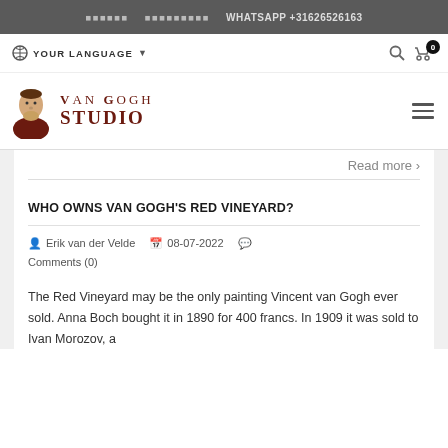🌐 🌐 WHATSAPP +31626526163
YOUR LANGUAGE  ▼
[Figure (logo): Van Gogh Studio logo with illustrated portrait of Van Gogh and text 'VAN GOGH STUDIO' in dark red serif font]
Read more >
WHO OWNS VAN GOGH'S RED VINEYARD?
Erik van der Velde  08-07-2022  Comments (0)
The Red Vineyard may be the only painting Vincent van Gogh ever sold. Anna Boch bought it in 1890 for 400 francs. In 1909 it was sold to Ivan Morozov, a